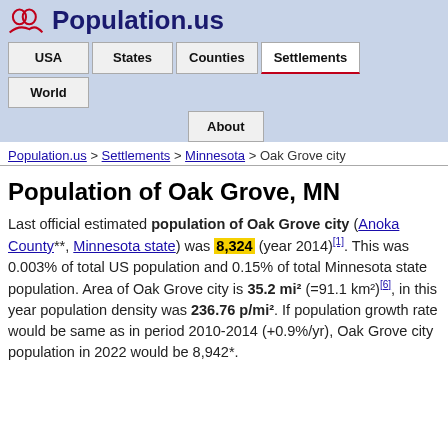Population.us
Population.us > Settlements > Minnesota > Oak Grove city
Population of Oak Grove, MN
Last official estimated population of Oak Grove city (Anoka County**, Minnesota state) was 8,324 (year 2014)[1]. This was 0.003% of total US population and 0.15% of total Minnesota state population. Area of Oak Grove city is 35.2 mi² (=91.1 km²)[6], in this year population density was 236.76 p/mi². If population growth rate would be same as in period 2010-2014 (+0.9%/yr), Oak Grove city population in 2022 would be 8,942*.